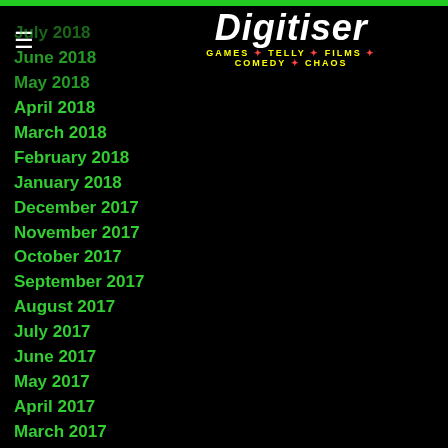Digitiser — GAMES * TELLY * FILMS * COMEDY * CHAOS
July 2018
June 2018
May 2018
April 2018
March 2018
February 2018
January 2018
December 2017
November 2017
October 2017
September 2017
August 2017
July 2017
June 2017
May 2017
April 2017
March 2017